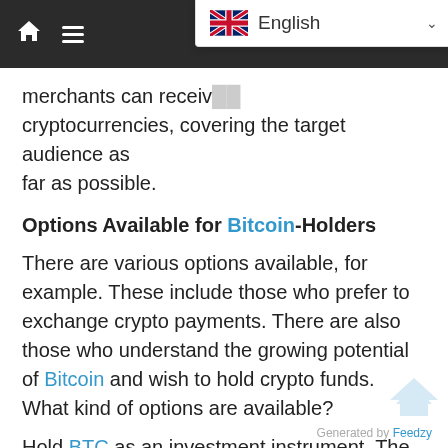Navigation bar with home icon, menu icon, and English language dropdown with UK flag
merchants can receive cryptocurrencies, covering the target audience as far as possible.
Options Available for Bitcoin-Holders
There are various options available, for example. These include those who prefer to exchange crypto payments. There are also those who understand the growing potential of Bitcoin and wish to hold crypto funds. What kind of options are available?
Hold BTC as an investment instrument. The yearly growth of Bitcoin is 472%.
Use BTC to purchase goods and services as well. More than 23 000 businesses globally accept the first cryptocurrency as a payment method.
Exchange Bitcoin for other cryptocurrencies (Stall...